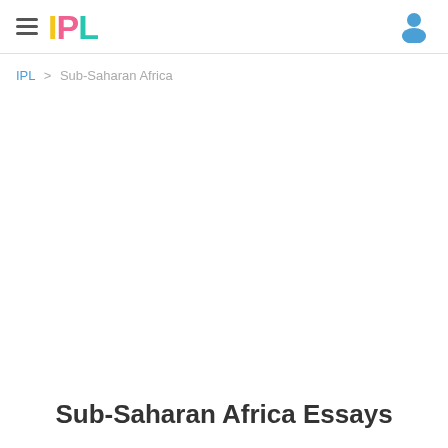IPL (logo) — hamburger menu and user icon
IPL > Sub-Saharan Africa
Sub-Saharan Africa Essays